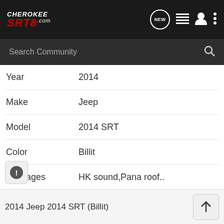[Figure (screenshot): Cherokee SRT8.com website header with logo and navigation icons (NEW message bubble, list icon, user icon, three-dots menu)]
[Figure (screenshot): Search Community input bar with magnifying glass icon on dark background]
| Year | 2014 |
| Make | Jeep |
| Model | 2014 SRT |
| Color | Billit |
| Packages | HK sound,Pana roof.. |
| History | Bought it from new had it for 1 week....laaaaarv it. |
2014 Jeep 2014 SRT (Billit)